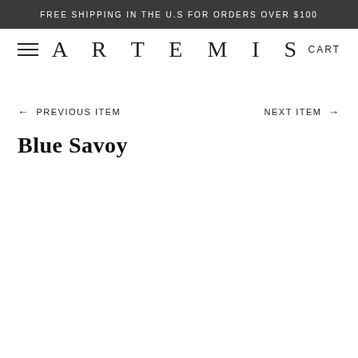FREE SHIPPING IN THE U.S FOR ORDERS OVER $100
ARTEMIS
CART
← PREVIOUS ITEM
NEXT ITEM →
Blue Savoy